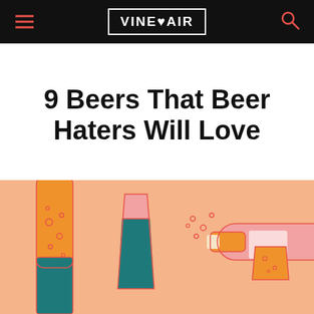VINEPAIR
9 Beers That Beer Haters Will Love
[Figure (illustration): Colorful flat illustration on peach/salmon background showing beer bottles and glasses: an orange beer bottle on the left with teal base, a pint glass in the center with pink top and teal liquid, a pink/salmon champagne bottle on its side with orange neck shooting to the right with fizz bubbles, and a small teal glass on the right side.]